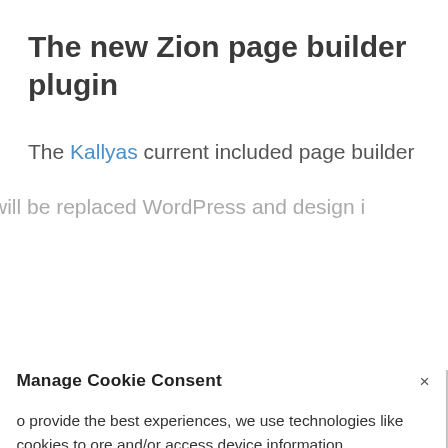The new Zion page builder plugin
The Kallyas current included page builder
will be replaced WordPress and design
Manage Cookie Consent
To provide the best experiences, we use technologies like cookies to store and/or access device information. Consenting to these technologies will allow us to process data such as browsing behavior or unique IDs on this site. Not consenting or withdrawing consent, may adversely affect certain features and functions.
ACCEPT
Cookie Policy   Privacy policy
Creator of your website by managing the